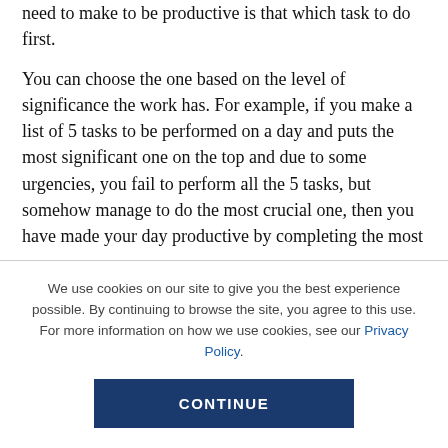need to make to be productive is that which task to do first.
You can choose the one based on the level of significance the work has. For example, if you make a list of 5 tasks to be performed on a day and puts the most significant one on the top and due to some urgencies, you fail to perform all the 5 tasks, but somehow manage to do the most crucial one, then you have made your day productive by completing the most
We use cookies on our site to give you the best experience possible. By continuing to browse the site, you agree to this use. For more information on how we use cookies, see our Privacy Policy.
CONTINUE